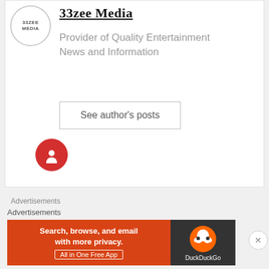[Figure (logo): 33zee Media circular logo with text '33ZEE MEDIA' inside a circle]
33zee Media
Provider of Quality Entertainment News and Information
See author's posts
[Figure (illustration): Red circular button with a white heart/person icon]
Advertisements
Advertisements
[Figure (screenshot): DuckDuckGo advertisement banner: 'Search, browse, and email with more privacy. All in One Free App' on orange background with DuckDuckGo logo on dark right panel]